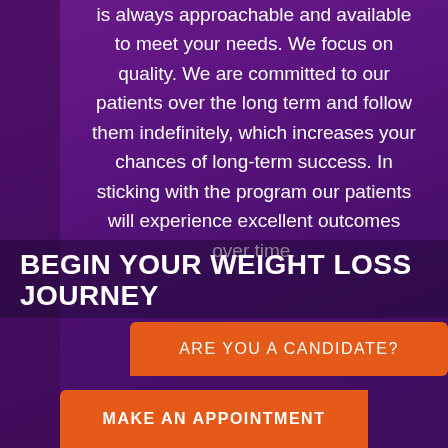is always approachable and available to meet your needs. We focus on quality. We are committed to our patients over the long term and follow them indefinitely, which increases your chances of long-term success. In sticking with the program our patients will experience excellent outcomes over time.
BEGIN YOUR WEIGHT LOSS JOURNEY
ARE YOU A CANDIDATE?
MAKE AN APPOINTMENT